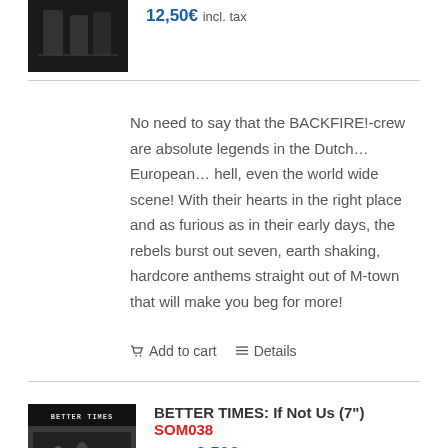[Figure (photo): Black and white photo of band members]
12,50€ incl. tax
No need to say that the BACKFIRE!-crew are absolute legends in the Dutch… European… hell, even the world wide scene! With their hearts in the right place and as furious as in their early days, the rebels burst out seven, earth shaking, hardcore anthems straight out of M-town that will make you beg for more!
Add to cart   Details
[Figure (photo): Album cover for Better Times - If Not Us 7 inch, with Sale badge]
BETTER TIMES: If Not Us (7") SOM038
5,00€  2,50€ incl. tax